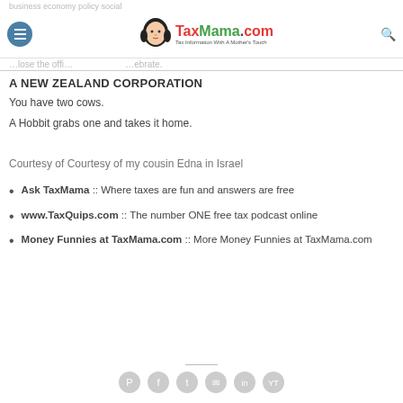business economy policy social
TaxMama.com - Tax Information With A Mother's Touch
A NEW ZEALAND CORPORATION
You have two cows.
A Hobbit grabs one and takes it home.
Courtesy of Courtesy of my cousin Edna in Israel
Ask TaxMama :: Where taxes are fun and answers are free
www.TaxQuips.com :: The number ONE free tax podcast online
Money Funnies at TaxMama.com :: More Money Funnies at TaxMama.com
Social icons row